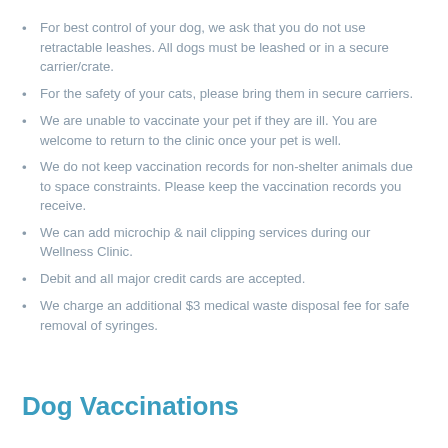For best control of your dog, we ask that you do not use retractable leashes. All dogs must be leashed or in a secure carrier/crate.
For the safety of your cats, please bring them in secure carriers.
We are unable to vaccinate your pet if they are ill. You are welcome to return to the clinic once your pet is well.
We do not keep vaccination records for non-shelter animals due to space constraints. Please keep the vaccination records you receive.
We can add microchip & nail clipping services during our Wellness Clinic.
Debit and all major credit cards are accepted.
We charge an additional $3 medical waste disposal fee for safe removal of syringes.
Dog Vaccinations